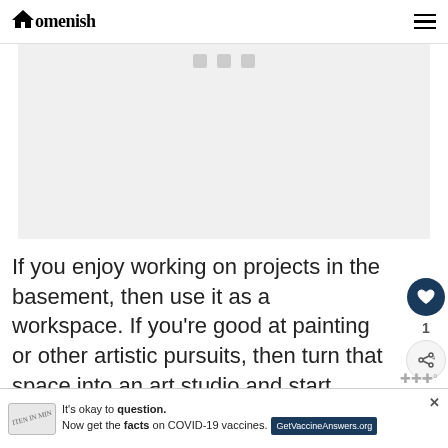Homenish
[Figure (photo): Gray placeholder image area for a photo, with share/social icons at top center]
If you enjoy working on projects in the basement, then use it as a workspace. If you're good at painting or other artistic pursuits, then turn that space into an art studio and start making art!
W... lement.
[Figure (infographic): Advertisement banner: It's okay to question. Now get the facts on COVID-19 vaccines. GetVaccineAnswers.org]